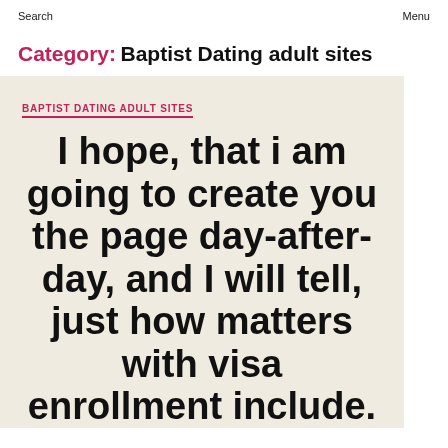Search    Menu
Category: Baptist Dating adult sites
BAPTIST DATING ADULT SITES
I hope, that i am going to create you the page day-after-day, and I will tell, just how matters with visa enrollment include.